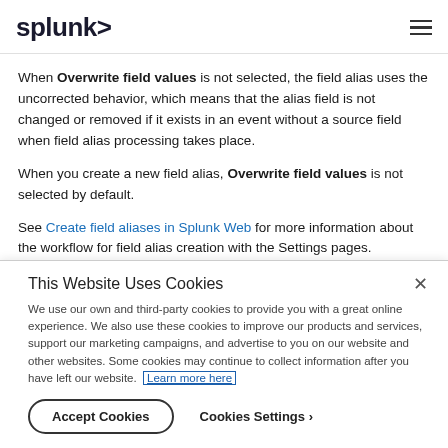splunk>
When Overwrite field values is not selected, the field alias uses the uncorrected behavior, which means that the alias field is not changed or removed if it exists in an event without a source field when field alias processing takes place.
When you create a new field alias, Overwrite field values is not selected by default.
See Create field aliases in Splunk Web for more information about the workflow for field alias creation with the Settings pages.
This Website Uses Cookies
We use our own and third-party cookies to provide you with a great online experience. We also use these cookies to improve our products and services, support our marketing campaigns, and advertise to you on our website and other websites. Some cookies may continue to collect information after you have left our website. Learn more here
Accept Cookies   Cookies Settings ›